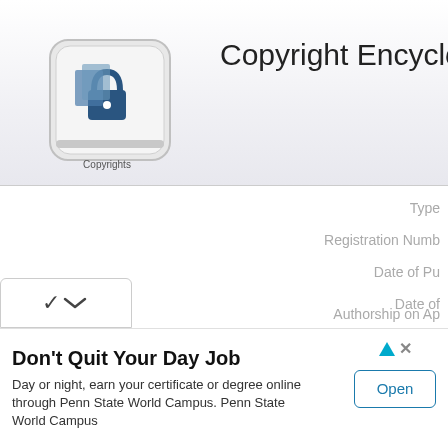[Figure (logo): Copyright Encyclopedia logo — a keyboard key with a padlock and papers icon, labeled 'Copyrights']
Copyright Encyclopedia
Type
Registration Numb
Date of Pu
Date of
Copyright
Authorship on Ap
[Figure (screenshot): Advertisement banner: 'Don't Quit Your Day Job' — Day or night, earn your certificate or degree online through Penn State World Campus. Penn State World Campus. Open button.]